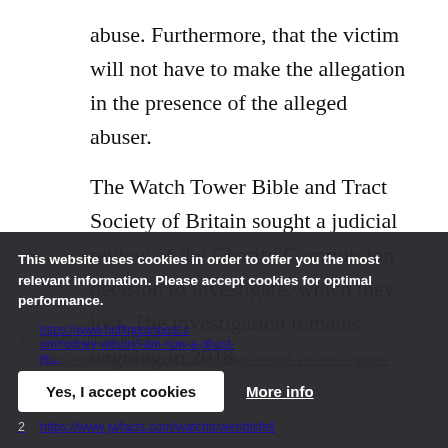abuse. Furthermore, that the victim will not have to make the allegation in the presence of the alleged abuser.
The Watch Tower Bible and Tract Society of Britain sought a judicial review of the Charity Commission decision to investigate, which they lost. The investigation remains ongoing in 2018.
1  Recent media articles
This website uses cookies in order to offer you the most relevant information. Please accept cookies for optimal performance.
https://www.huffingtonpost.c om/rodney-wilson/i-am-now-a-ghost- je...
2  https://www.jwfacts.com/watchtower/disfell...